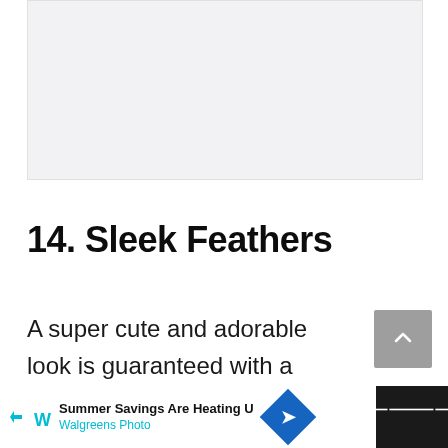[Figure (photo): Light gray placeholder image area at top of page]
14. Sleek Feathers
A super cute and adorable look is guaranteed with a wonderful hairstyle that needs a feather cut at the ends and a s
[Figure (other): Advertisement bar at bottom: Walgreens Photo Summer Savings Are Heating Up, with navigation diamond icon and WW logo]